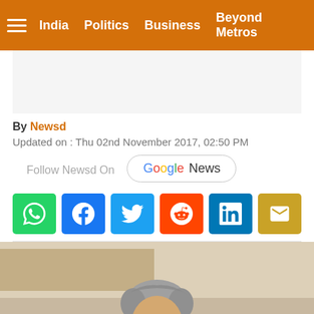India  Politics  Business  Beyond Metros
By Newsd
Updated on : Thu 02nd November 2017, 02:50 PM
Follow Newsd On  Google News
[Figure (screenshot): Social media sharing buttons: WhatsApp, Facebook, Twitter, Reddit, LinkedIn, Email]
[Figure (photo): Photo of an older man with gray hair and glasses, partial face visible, outdoor setting]